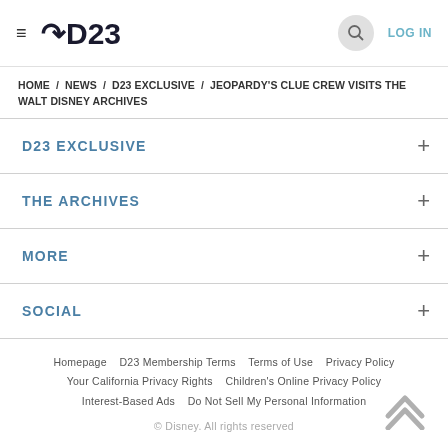≡  D23   🔍  LOG IN
HOME / NEWS / D23 EXCLUSIVE / JEOPARDY'S CLUE CREW VISITS THE WALT DISNEY ARCHIVES
D23 EXCLUSIVE +
THE ARCHIVES +
MORE +
SOCIAL +
Homepage   D23 Membership Terms   Terms of Use   Privacy Policy   Your California Privacy Rights   Children's Online Privacy Policy   Interest-Based Ads   Do Not Sell My Personal Information
© Disney. All rights reserved